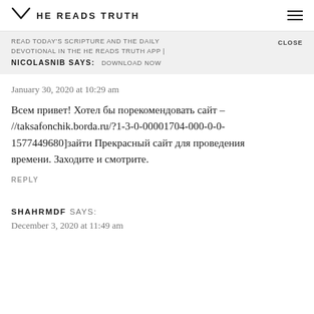HE READS TRUTH
READ TODAY'S SCRIPTURE AND THE DAILY DEVOTIONAL IN THE HE READS TRUTH APP | DOWNLOAD NOW  CLOSE
NICOLASNIB SAYS:
January 30, 2020 at 10:29 am
Всем привет! Хотел бы порекомендовать сайт – //taksafonchik.borda.ru/?1-3-0-00001704-000-0-0-1577449680]зайти Прекрасный сайт для проведения времени. Заходите и смотрите.
REPLY
SHAHRMDF SAYS:
December 3, 2020 at 11:49 am